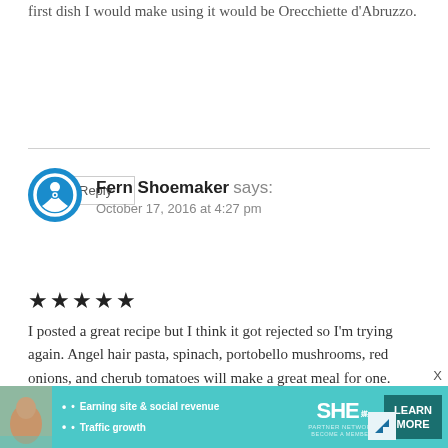first dish I would make using it would be Orecchiette d'Abruzzo.
Reply
Fern Shoemaker says:
October 17, 2016 at 4:27 pm
[Figure (illustration): Five black star rating icons]
I posted a great recipe but I think it got rejected so I'm trying again. Angel hair pasta, spinach, portobello mushrooms, red onions, and cherub tomatoes will make a great meal for one. Especially in such an
[Figure (infographic): Advertisement banner for SHE Partner Network. Shows a woman photo, bullet points: Earning site & social revenue, Traffic growth. SHE Partner Network logo, BECOME A MEMBER text, LEARN MORE button. X close button and blue arrow icon.]